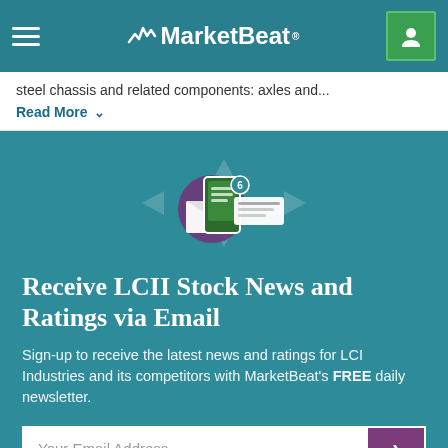MarketBeat
steel chassis and related components: axles and...
Read More
[Figure (illustration): Notification icon with envelope and smartphone showing alerts, with circular arrows in background]
Receive LCII Stock News and Ratings via Email
Sign-up to receive the latest news and ratings for LCI Industries and its competitors with MarketBeat's FREE daily newsletter.
Your Email Address